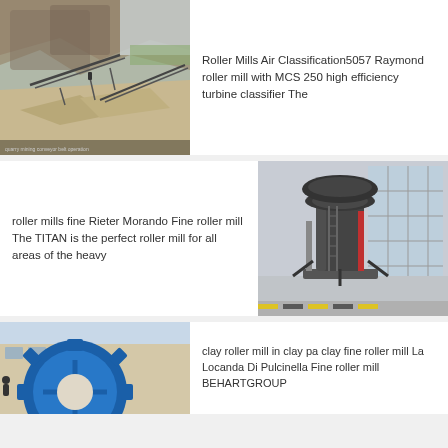[Figure (photo): Outdoor quarry/mining operation with conveyor belts and rocky hillside, gravel and stone piles in foreground]
Roller Mills Air Classification5057 Raymond roller mill with MCS 250 high efficiency turbine classifier The
[Figure (photo): Industrial indoor facility with a large vertical roller mill machine (TITAN) in a factory/warehouse setting]
roller mills fine Rieter Morando Fine roller mill The TITAN is the perfect roller mill for all areas of the heavy
[Figure (photo): Large blue gear/wheel mechanical component outside a building]
clay roller mill in clay pa clay fine roller mill La Locanda Di Pulcinella Fine roller mill BEHARTGROUP